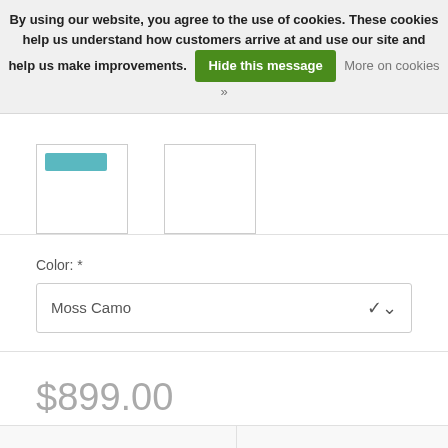By using our website, you agree to the use of cookies. These cookies help us understand how customers arrive at and use our site and help us make improvements. Hide this message More on cookies »
[Figure (screenshot): Two product image thumbnail boxes, second one empty, first with a teal bar at top suggesting a product image.]
Color: *
Moss Camo
$899.00
1
ADD TO CART